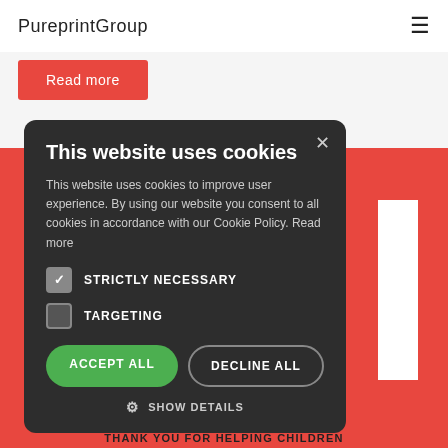PureprintGroup
Read more
This website uses cookies
This website uses cookies to improve user experience. By using our website you consent to all cookies in accordance with our Cookie Policy. Read more
STRICTLY NECESSARY
TARGETING
ACCEPT ALL
DECLINE ALL
SHOW DETAILS
THANK YOU FOR HELPING CHILDREN